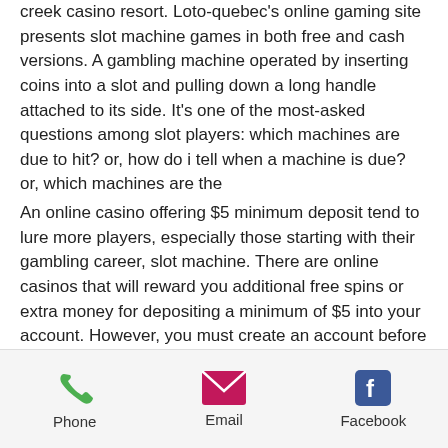creek casino resort. Loto-quebec's online gaming site presents slot machine games in both free and cash versions. A gambling machine operated by inserting coins into a slot and pulling down a long handle attached to its side. It's one of the most-asked questions among slot players: which machines are due to hit? or, how do i tell when a machine is due? or, which machines are the
An online casino offering $5 minimum deposit tend to lure more players, especially those starting with their gambling career, slot machine. There are online casinos that will reward you additional free spins or extra money for depositing a minimum of $5 into your account. However, you must create an account before claiming the deposit bonus. Most casinos allow players to try out different
Phone  Email  Facebook